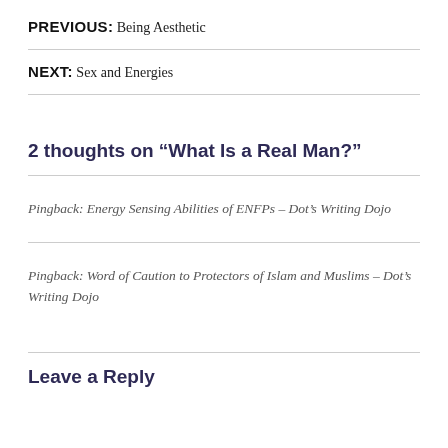PREVIOUS: Being Aesthetic
NEXT: Sex and Energies
2 thoughts on “What Is a Real Man?”
Pingback: Energy Sensing Abilities of ENFPs – Dot’s Writing Dojo
Pingback: Word of Caution to Protectors of Islam and Muslims – Dot’s Writing Dojo
Leave a Reply